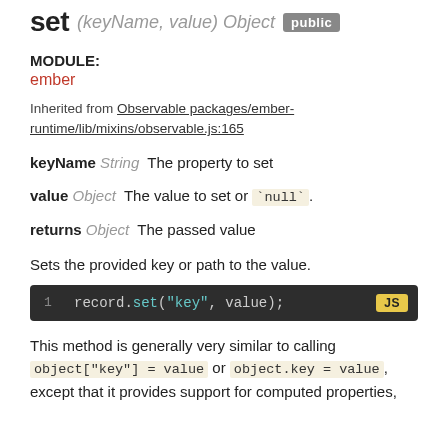set (keyName, value) Object  public
MODULE:
ember
Inherited from Observable packages/ember-runtime/lib/mixins/observable.js:165
keyName String  The property to set
value Object  The value to set or `null`.
returns Object  The passed value
Sets the provided key or path to the value.
[Figure (screenshot): Code block showing: 1  record.set("key", value);  JS]
This method is generally very similar to calling object["key"] = value or object.key = value, except that it provides support for computed properties,